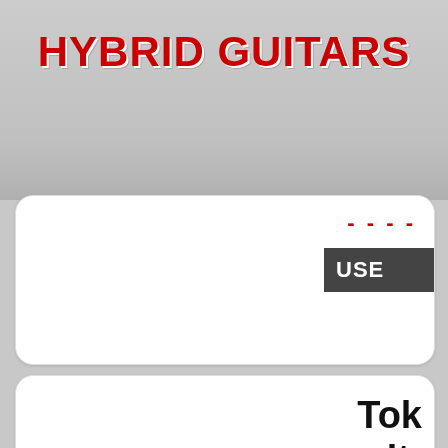HYBRID GUITARS
[Figure (screenshot): Partial view of a card with red dashed line and dark gray USER bar, part of a UI screenshot]
[Figure (screenshot): Partial view of a second card showing text: Tok, with, BK (truncated text visible at right edge)]